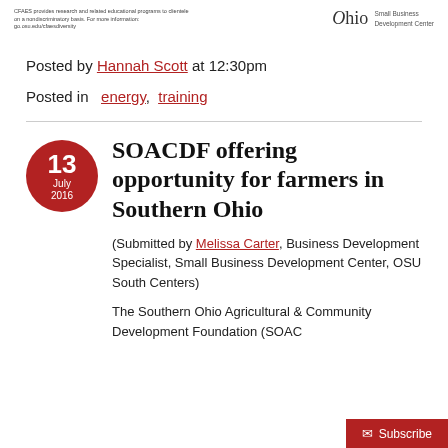CFAES provides research and related educational programs to clientele on a nondiscriminatory basis. For more information: go.osu.edu/cfaesdiversity | Ohio Small Business Development Center
Posted by Hannah Scott at 12:30pm
Posted in  energy,  training
SOACDF offering opportunity for farmers in Southern Ohio
(Submitted by Melissa Carter, Business Development Specialist, Small Business Development Center, OSU South Centers)
The Southern Ohio Agricultural & Community Development Foundation (SOACDF...